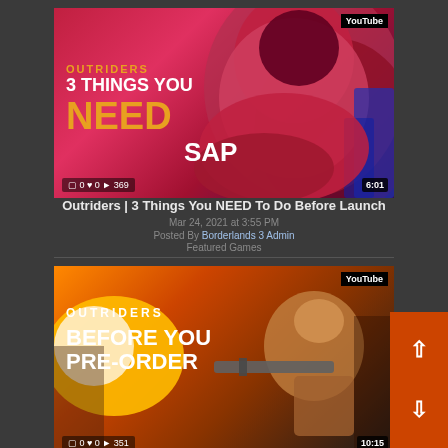[Figure (screenshot): YouTube video thumbnail for Outriders - 3 Things You NEED To Do Before Launch, showing a hooded alien creature with NEED text in gold, duration 6:01, stats: 0 comments, 0 likes, 369 plays]
Outriders | 3 Things You NEED To Do Before Launch
Mar 24, 2021 at 3:55 PM
Posted By Borderlands 3 Admin
Featured Games
[Figure (screenshot): YouTube video thumbnail for Outriders - Before You Pre Order, showing a soldier with a gun firing, duration 10:15, stats: 0 comments, 0 likes, 351 plays]